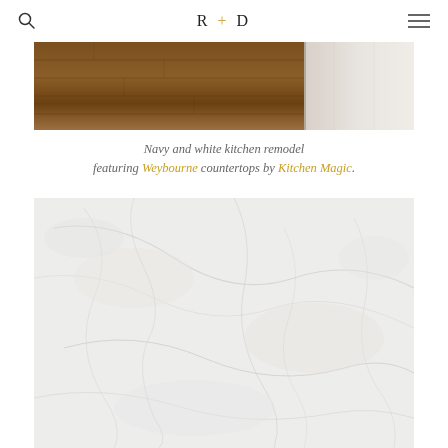R + D
[Figure (photo): Partial view of a kitchen interior showing dark hardwood floor and white cabinet/appliance at right edge]
Navy and white kitchen remodel featuring Weybourne countertops by Kitchen Magic.
[Figure (photo): Close-up texture photo of Weybourne quartz countertop surface — white with subtle grey veining and slight texture]